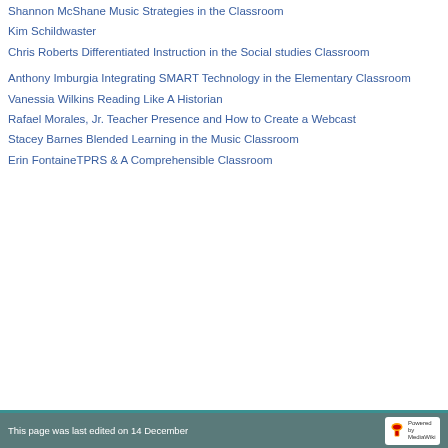Shannon McShane Music Strategies in the Classroom
Kim Schildwaster
Chris Roberts Differentiated Instruction in the Social studies Classroom
Anthony Imburgia Integrating SMART Technology in the Elementary Classroom
Vanessia Wilkins Reading Like A Historian
Rafael Morales, Jr. Teacher Presence and How to Create a Webcast
Stacey Barnes Blended Learning in the Music Classroom
Erin FontaineTPRS & A Comprehensible Classroom
This page was last edited on 14 December